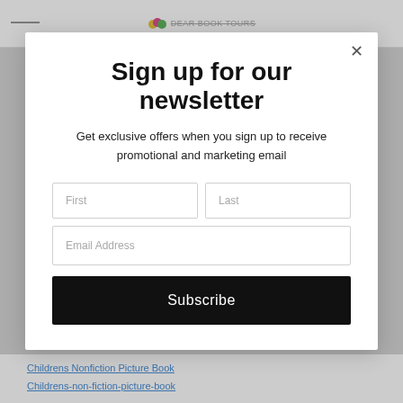DEAR BOOK TOURS (logo/header)
Sign up for our newsletter
Get exclusive offers when you sign up to receive promotional and marketing email
First | Last (form fields)
Email Address (form field)
Subscribe
Childrens Nonfiction Picture Book
Childrens-non-fiction-picture-book